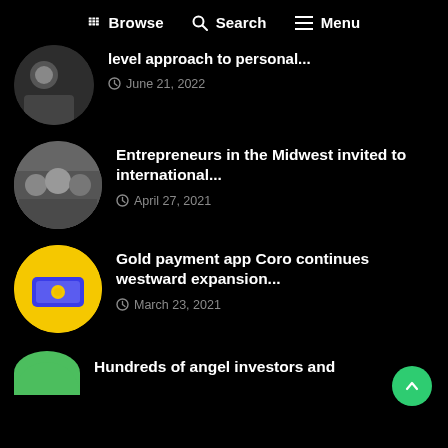Browse  Search  Menu
level approach to personal... June 21, 2022
Entrepreneurs in the Midwest invited to international... April 27, 2021
Gold payment app Coro continues westward expansion... March 23, 2021
Hundreds of angel investors and